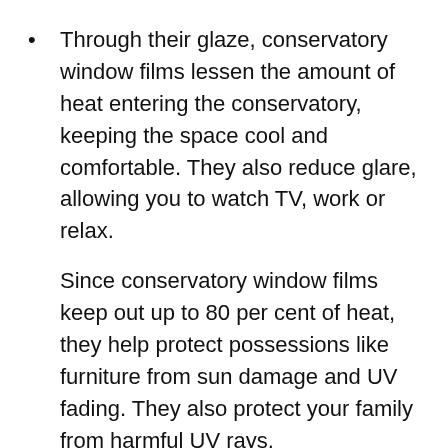Through their glaze, conservatory window films lessen the amount of heat entering the conservatory, keeping the space cool and comfortable. They also reduce glare, allowing you to watch TV, work or relax.
Since conservatory window films keep out up to 80 per cent of heat, they help protect possessions like furniture from sun damage and UV fading. They also protect your family from harmful UV rays.